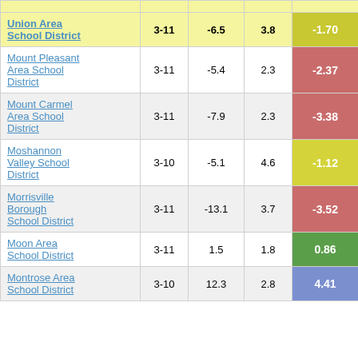| School District | Grades | Col3 | Col4 | Score |
| --- | --- | --- | --- | --- |
| Union Area School District | 3-11 | -6.5 | 3.8 | -1.70 |
| Mount Pleasant Area School District | 3-11 | -5.4 | 2.3 | -2.37 |
| Mount Carmel Area School District | 3-11 | -7.9 | 2.3 | -3.38 |
| Moshannon Valley School District | 3-10 | -5.1 | 4.6 | -1.12 |
| Morrisville Borough School District | 3-11 | -13.1 | 3.7 | -3.52 |
| Moon Area School District | 3-11 | 1.5 | 1.8 | 0.86 |
| Montrose Area School District | 3-10 | 12.3 | 2.8 | 4.41 |